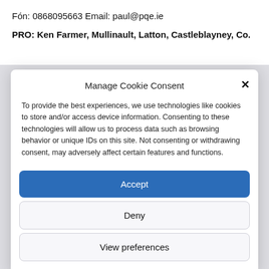Fón: 0868095663 Email: paul@pqe.ie
PRO: Ken Farmer, Mullinault, Latton, Castleblayney, Co.
Manage Cookie Consent
To provide the best experiences, we use technologies like cookies to store and/or access device information. Consenting to these technologies will allow us to process data such as browsing behavior or unique IDs on this site. Not consenting or withdrawing consent, may adversely affect certain features and functions.
Accept
Deny
View preferences